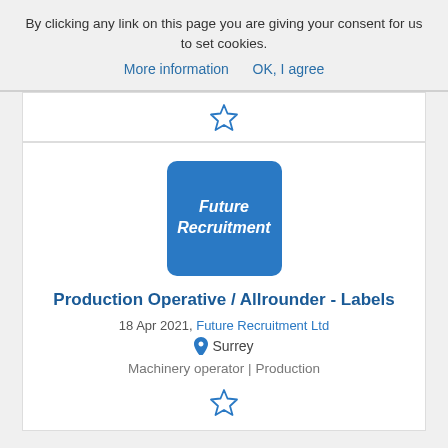By clicking any link on this page you are giving your consent for us to set cookies.
More information   OK, I agree
[Figure (logo): Star/bookmark icon (outline star)]
[Figure (logo): Future Recruitment company logo - blue rounded square with italic white text 'Future Recruitment']
Production Operative / Allrounder - Labels
18 Apr 2021, Future Recruitment Ltd
Surrey
Machinery operator | Production
[Figure (logo): Star/bookmark icon (outline star)]